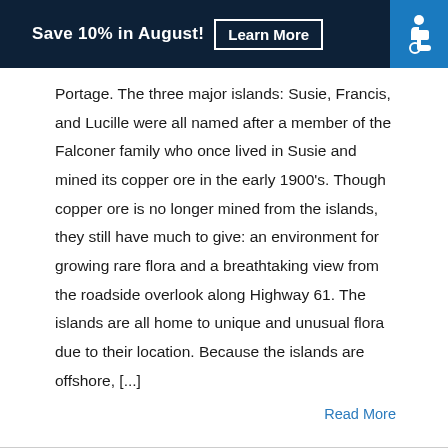Save 10% in August! Learn More
Portage. The three major islands: Susie, Francis, and Lucille were all named after a member of the Falconer family who once lived in Susie and mined its copper ore in the early 1900's. Though copper ore is no longer mined from the islands, they still have much to give: an environment for growing rare flora and a breathtaking view from the roadside overlook along Highway 61. The islands are all home to unique and unusual flora due to their location. Because the islands are offshore, [...]
Read More